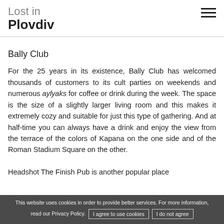Lost in Plovdiv
Bally Club
For the 25 years in its existence, Bally Club has welcomed thousands of customers to its cult parties on weekends and numerous aylyaks for coffee or drink during the week. The space is the size of a slightly larger living room and this makes it extremely cozy and suitable for just this type of gathering. And at half-time you can always have a drink and enjoy the view from the terrace of the colors of Kapana on the one side and of the Roman Stadium Square on the other.

Headshot The Finish Pub is another popular place...
This website uses cookies in order to provide better services. For more information, read our Privacy Policy. I agree to use cookies | I do not agree